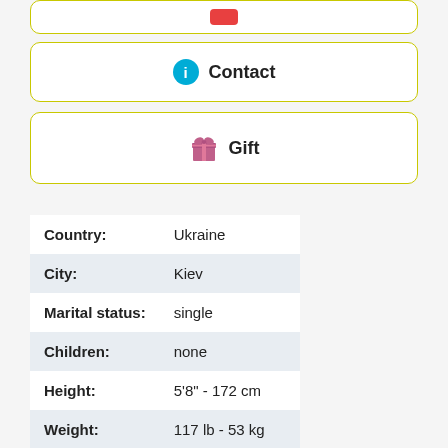[Figure (other): Top bar with red button icon]
Contact
Gift
| Field | Value |
| --- | --- |
| Country: | Ukraine |
| City: | Kiev |
| Marital status: | single |
| Children: | none |
| Height: | 5'8" - 172 cm |
| Weight: | 117 lb - 53 kg |
| Eye color: | brown |